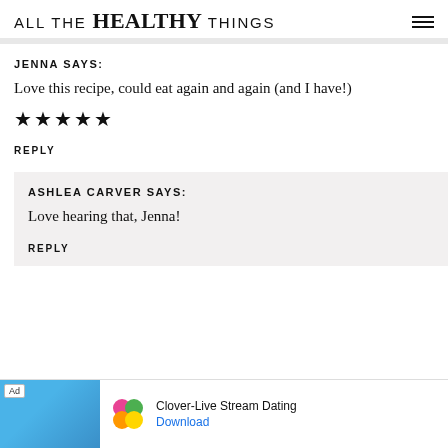ALL THE healthy THINGS
JENNA SAYS:
Love this recipe, could eat again and again (and I have!)
★★★★★
REPLY
ASHLEA CARVER SAYS:
Love hearing that, Jenna!
REPLY
[Figure (screenshot): Advertisement banner: Clover-Live Stream Dating app ad with beach photo, clover icon, and Download link]